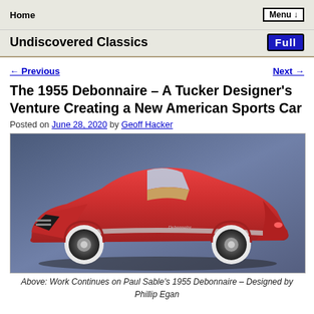Home | Menu ↓
Undiscovered Classics
← Previous | Next →
The 1955 Debonnaire – A Tucker Designer's Venture Creating a New American Sports Car
Posted on June 28, 2020 by Geoff Hacker
[Figure (photo): Render of a red 1955 Debonnaire open-top sports car against a blue-grey gradient background]
Above: Work Continues on Paul Sable's 1955 Debonnaire – Designed by Phillip Egan